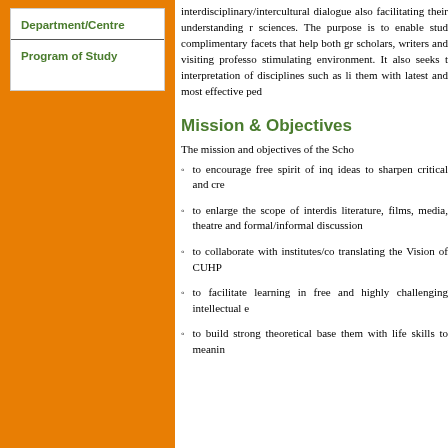| Department/Centre |
| Program of Study |
interdisciplinary/intercultural dialogue also facilitating their understanding n sciences. The purpose is to enable stu complimentary facets that help both g scholars, writers and visiting professo stimulating environment. It also seeks interpretation of disciplines such as li them with latest and most effective ped
Mission & Objectives
The mission and objectives of the Scho
to encourage free spirit of inq ideas to sharpen critical and cre
to enlarge the scope of interdis literature, films, media, theatre and formal/informal discussion
to collaborate with institutes/c translating the Vision of CUHP
to facilitate learning in free an highly challenging intellectual e
to build strong theoretical base them with life skills to meanin